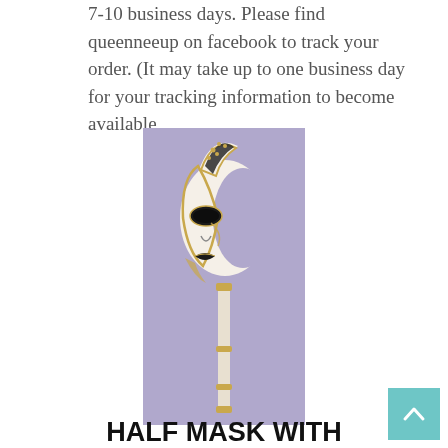7-10 business days. Please find queenneeup on facebook to track your order. (It may take up to one business day for your tracking information to become available
[Figure (photo): A Venetian-style half mask on a decorative stick, white and black with gold detailing, on a purple background]
HALF MASK WITH